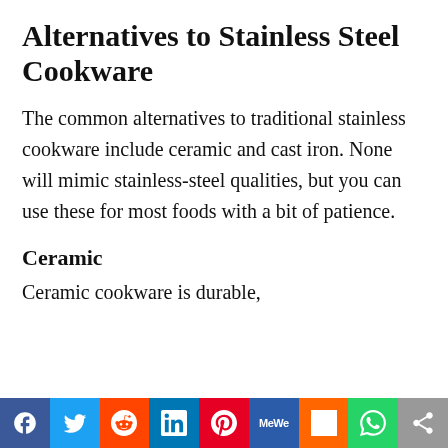Alternatives to Stainless Steel Cookware
The common alternatives to traditional stainless cookware include ceramic and cast iron. None will mimic stainless-steel qualities, but you can use these for most foods with a bit of patience.
Ceramic
Ceramic cookware is durable,
[Figure (infographic): Social media sharing bar with buttons for Facebook, Twitter, Reddit, LinkedIn, Pinterest, MeWe, Mix, WhatsApp, and a share icon]